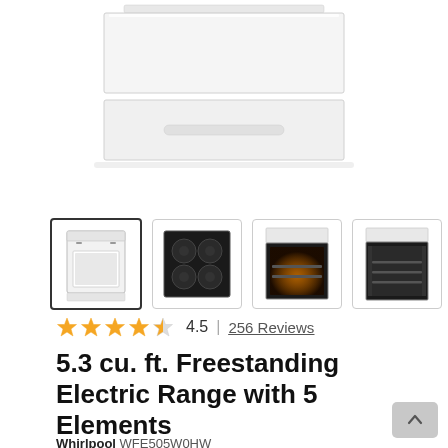[Figure (photo): Top portion of a white freestanding electric range oven, showing the cooktop and upper control panel against white background]
[Figure (photo): Thumbnail gallery of product images: 1) Full white electric range front view (selected/highlighted), 2) Black glass cooktop surface top-down, 3) Oven interior with food lit inside, 4) Empty oven interior with racks. Navigation arrow button on the right.]
4.5  |  256 Reviews
5.3 cu. ft. Freestanding Electric Range with 5 Elements
Whirlpool WFE505W0HW
Available in 4 Color(s)